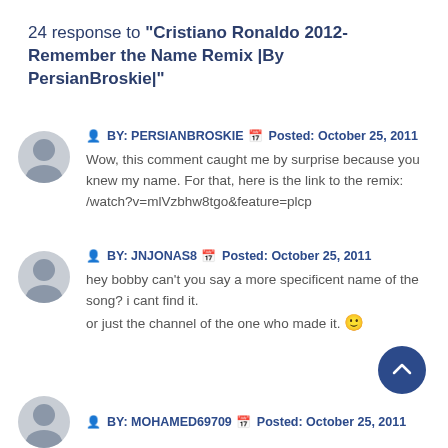24 response to "Cristiano Ronaldo 2012-Remember the Name Remix |By PersianBroskie|"
BY: PERSIANBROSKIE  Posted: October 25, 2011
Wow, this comment caught me by surprise because you knew my name. For that, here is the link to the remix: /watch?v=mlVzbhw8tgo&feature=plcp
BY: JNJONAS8  Posted: October 25, 2011
hey bobby can't you say a more specificent name of the song? i cant find it.
or just the channel of the one who made it. 🙂
BY: MOHAMED69709  Posted: October 25, 2011